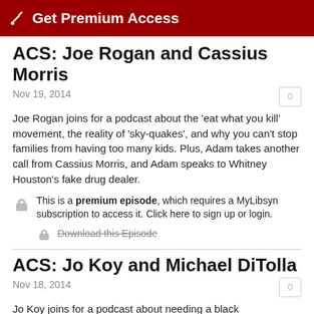Get Premium Access
ACS: Joe Rogan and Cassius Morris
Nov 19, 2014
Joe Rogan joins for a podcast about the 'eat what you kill' movement, the reality of 'sky-quakes', and why you can't stop families from having too many kids. Plus, Adam takes another call from Cassius Morris, and Adam speaks to Whitney Houston's fake drug dealer.
This is a premium episode, which requires a MyLibsyn subscription to access it. Click here to sign up or login.
Download this Episode
ACS: Jo Koy and Michael DiTolla
Nov 18, 2014
Jo Koy joins for a podcast about needing a black correspondent, whether you should send your kids to college, and dealing with tonsil stones. Plus, Road Hard donor Michael DiTolla drops by the studio to discuss his five-hour flight seated next to Villaraigosa, and Adam introduces a new segment, 'Tweet and a Miss'.
This is a premium episode, which requires a MyLibsyn subscription to